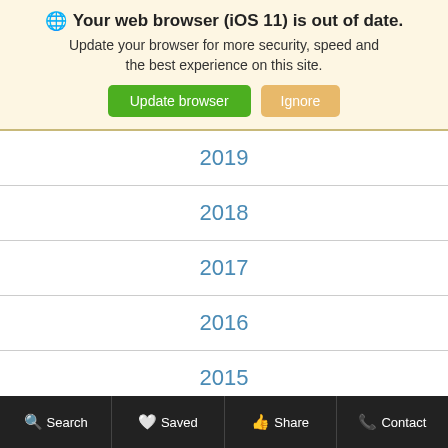🌐 Your web browser (iOS 11) is out of date. Update your browser for more security, speed and the best experience on this site. [Update browser] [Ignore]
2019
2018
2017
2016
2015
2014
2013
2012
Search | Saved | Share | Contact